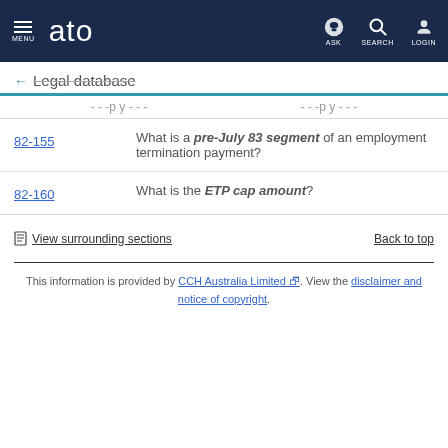MENU | ato | ASK | SEARCH | LOGIN
← Legal database
| Section | Description |
| --- | --- |
| 82-155 | What is a pre-July 83 segment of an employment termination payment? |
| 82-160 | What is the ETP cap amount? |
View surrounding sections   Back to top
This information is provided by CCH Australia Limited. View the disclaimer and notice of copyright.